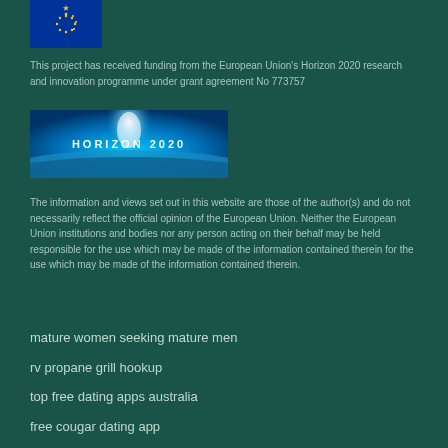[Figure (illustration): European Union flag (blue with yellow stars) in top left corner]
This project has received funding from the European Union's Horizon 2020 research and innovation programme under grant agreement No 773757
[Figure (illustration): Horizon 2020 logo image showing globe with light beam and text 'HORIZON 2020' on blue background]
The information and views set out in this website are those of the author(s) and do not necessarily reflect the official opinion of the European Union. Neither the European Union institutions and bodies nor any person acting on their behalf may be held responsible for the use which may be made of the information contained therein for the use which may be made of the information contained therein.
mature women seeking mature men
rv propane grill hookup
top free dating apps australia
free cougar dating app